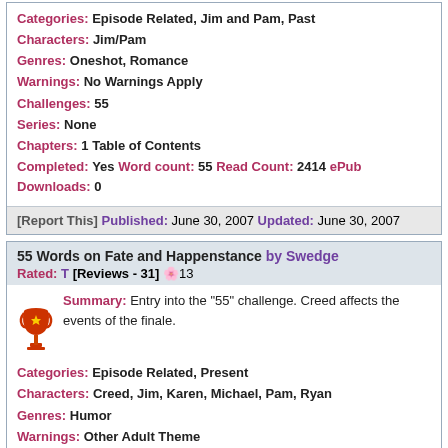Categories: Episode Related, Jim and Pam, Past
Characters: Jim/Pam
Genres: Oneshot, Romance
Warnings: No Warnings Apply
Challenges: 55
Series: None
Chapters: 1 Table of Contents
Completed: Yes Word count: 55 Read Count: 2414 ePub Downloads: 0
[Report This] Published: June 30, 2007 Updated: June 30, 2007
55 Words on Fate and Happenstance by Swedge
Rated: T [Reviews - 31] 🌸13
Summary: Entry into the "55" challenge. Creed affects the events of the finale.
Categories: Episode Related, Present
Characters: Creed, Jim, Karen, Michael, Pam, Ryan
Genres: Humor
Warnings: Other Adult Theme
Challenges: 55